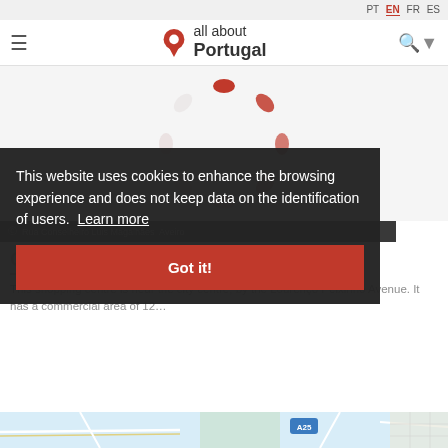PT EN FR ES
all about Portugal
[Figure (illustration): Loading spinner animation with red/pink oval dots arranged in a circle on white/light grey background]
© Rua Conselheiro Luis Magalhães  Aveiro
CENTRO COMERCIAL VENEZA
This shopping centre is near the city centre, by the Lourenço Peixinho Avenue. It has a commercial area of 12...
This website uses cookies to enhance the browsing experience and does not keep data on the identification of users.  Learn more
[Figure (map): Map strip at bottom of page showing road map with A25 badge]